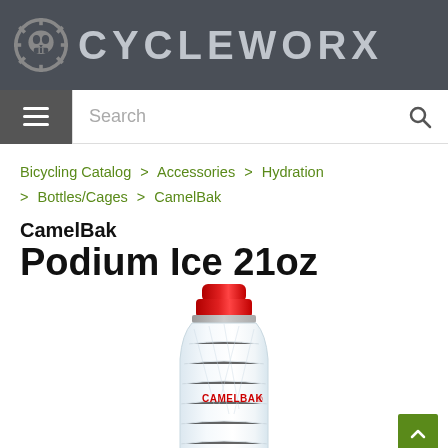CYCLEWORX
Search
Bicycling Catalog > Accessories > Hydration > Bottles/Cages > CamelBak
CamelBak Podium Ice 21oz
[Figure (photo): CamelBak Podium Ice 21oz water bottle, white/clear insulated body with red cap and CamelBak logo, partially shown]